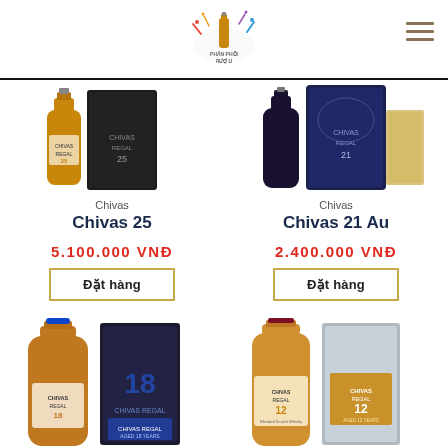PHÂN PHỐI RƯỢU
Chivas
Chivas 25
5.100.000 VNĐ
Đặt hàng
Chivas
Chivas 21 Au
2.400.000 VNĐ
Đặt hàng
[Figure (photo): Chivas 18 bottle with box]
[Figure (photo): Chivas Regal 12 bottle with box]